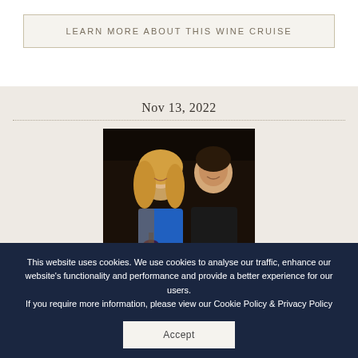LEARN MORE ABOUT THIS WINE CRUISE
Nov 13, 2022
[Figure (photo): A smiling blonde woman in a blue top and a man in a dark jacket, photographed at a social event, both appear to be at an indoor venue]
This website uses cookies. We use cookies to analyse our traffic, enhance our website's functionality and performance and provide a better experience for our users.
If you require more information, please view our Cookie Policy & Privacy Policy
Accept